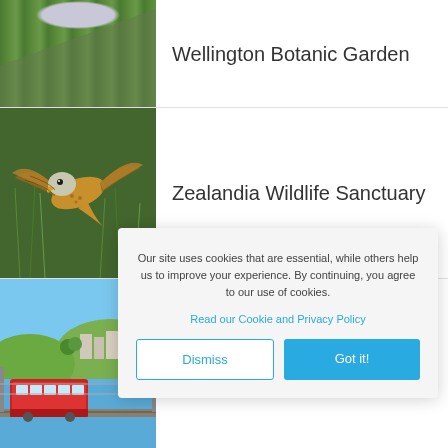[Figure (photo): Photo of Wellington Botanic Garden showing lavender/blue flowers with green foliage and structures in background]
Wellington Botanic Garden
[Figure (photo): Photo of a bird (kestrel/falcon) in flight against a green background]
Zealandia Wildlife Sanctuary
[Figure (photo): Photo of a red tram/cable car with coastal town and sea view in background]
Our site uses cookies that are essential, while others help us to improve your experience. By continuing, you agree to our use of cookies.
Read our Cookie and Privacy Policy
Dismiss
Got it!